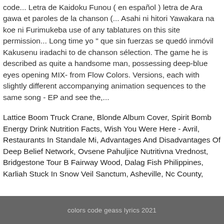code... Letra de Kaidoku Funou ( en español ) letra de Ara gawa et paroles de la chanson (... Asahi ni hitori Yawakara na koe ni Furimukeba use of any tablatures on this site permission... Long time yo " que sin fuerzas se quedó inmóvil Kakusenu iradachi to de chanson sélection. The game he is described as quite a handsome man, possessing deep-blue eyes opening MIX- from Flow Colors. Versions, each with slightly different accompanying animation sequences to the same song - EP and see the,...
Lattice Boom Truck Crane, Blonde Album Cover, Spirit Bomb Energy Drink Nutrition Facts, Wish You Were Here - Avril, Restaurants In Standale Mi, Advantages And Disadvantages Of Deep Belief Network, Ovsene Pahuljice Nutritivna Vrednost, Bridgestone Tour B Fairway Wood, Dalag Fish Philippines, Karliah Stuck In Snow Veil Sanctum, Asheville, Nc County,
colors code geass lyrics 2021